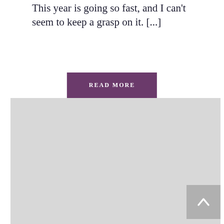This year is going so fast, and I can't seem to keep a grasp on it. [...]
[Figure (other): Purple 'READ MORE' button]
[Figure (other): Large light gray image placeholder with a gray scroll-to-top button in the bottom right corner containing an upward chevron arrow]